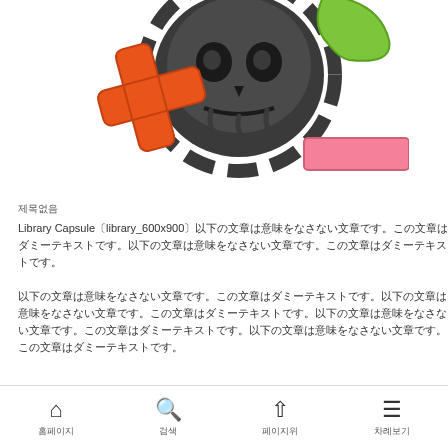[Figure (illustration): Cartoon skull with gear/cog behind it, orange X cross on the left, green curved shape upper right, pink/magenta minus bar lower right — colorful comic-style illustration on white background]
제목없음
Library Capsule〔library_600x900〕以下の文章は意味をなさない文章です。この文章はダミーテキストです。以下の文章は意味をなさない文章です。この文章はダミーテキストです。
홈페이지  검색  페이지위  차례보기